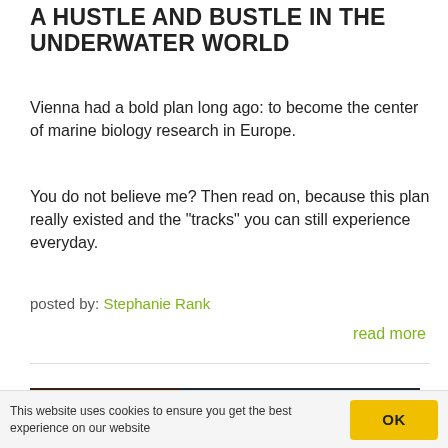A HUSTLE AND BUSTLE IN THE UNDERWATER WORLD
Vienna had a bold plan long ago: to become the center of marine biology research in Europe.
You do not believe me? Then read on, because this plan really existed and the "tracks" you can still experience everyday.
posted by: Stephanie Rank
read more
[Figure (photo): Advertisement banner for Time Travel Vienna showing '5D Kino – Habsburgershow – Walzer Ride – Luftschutzbunker – Fiaker Ride' with the slogan 'Ein Erlebnis für die ganze Familie!']
This website uses cookies to ensure you get the best experience on our website